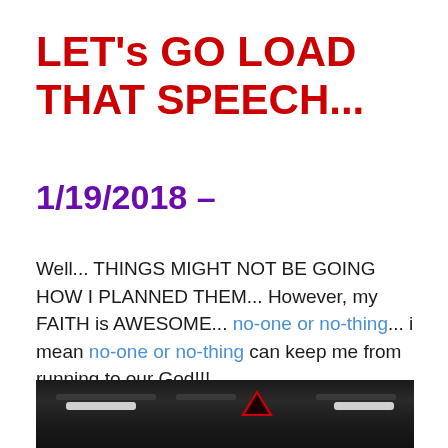LET's GO LOAD THAT SPEECH...
1/19/2018 –
Well... THINGS MIGHT NOT BE GOING HOW I PLANNED THEM... However, my FAITH is AWESOME... no-one or no-thing... i mean no-one or no-thing can keep me from running to our God!!!
[Figure (photo): Photo of car dashboard/interior vent area with dark background, showing air vents and a warning triangle button]